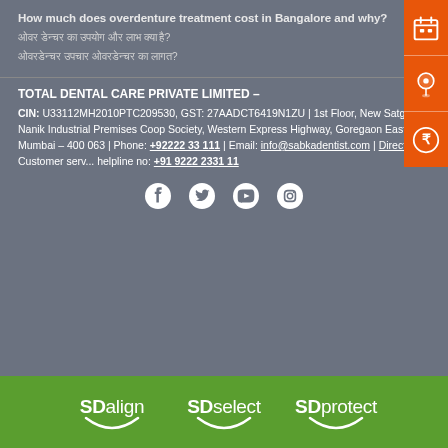How much does overdenture treatment cost in Bangalore and why?
ओवर डेन्चर का उपयोग और लाभ क्या है?
ओवरडेन्चर उपचार ओवरडेन्चर का लागत?
TOTAL DENTAL CARE PRIVATE LIMITED – CIN: U33112MH2010PTC209530, GST: 27AADCT6419N1ZU | 1st Floor, New Satguru Nanik Industrial Premises Coop Society, Western Express Highway, Goregaon East, Mumbai – 400 063 | Phone: +92222 33 111 | Email: info@sabkadentist.com | Directions Customer service helpline no: +91 9222 2331 11
[Figure (logo): Social media icons: Facebook, Twitter, YouTube, Instagram]
[Figure (infographic): Right sidebar with orange calendar, location pin, and rupee symbol icons]
[Figure (logo): Green bar with SDalign, SDselect, SDprotect brand logos in white]